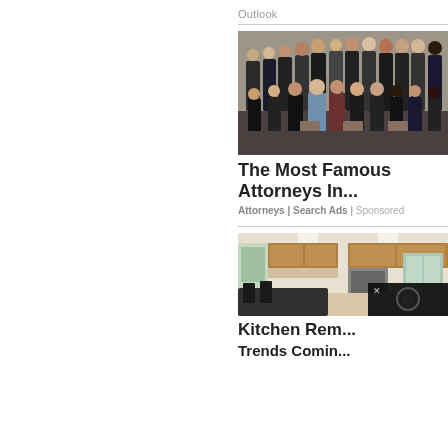Outlook
[Figure (photo): Group photo of attorneys in formal business attire, seated and standing in rows]
The Most Famous Attorneys In...
Attorneys | Search Ads | Sponsored
[Figure (photo): Modern kitchen interior with wood cabinets and black island counter]
Kitchen Remodeling Trends Coming in 2022